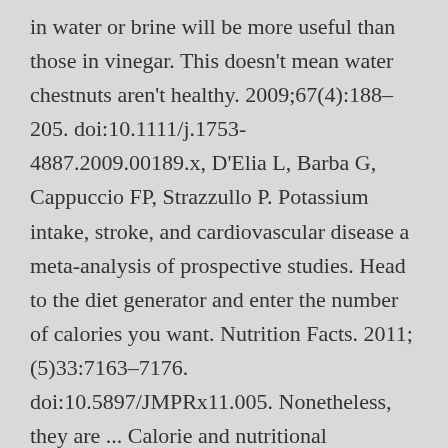in water or brine will be more useful than those in vinegar. This doesn't mean water chestnuts aren't healthy. 2009;67(4):188–205. doi:10.1111/j.1753-4887.2009.00189.x, D'Elia L, Barba G, Cappuccio FP, Strazzullo P. Potassium intake, stroke, and cardiovascular disease a meta-analysis of prospective studies. Head to the diet generator and enter the number of calories you want. Nutrition Facts. 2011;(5)33:7163–7176. doi:10.5897/JMPRx11.005. Nonetheless, they are ... Calorie and nutritional information for a variety of types and serving sizes of Water Chestnuts is shown below. 2011;57(10):1210–9. doi:10.1016/j.jacc.2010.09.070. The edible part of the vegetable is the corms,